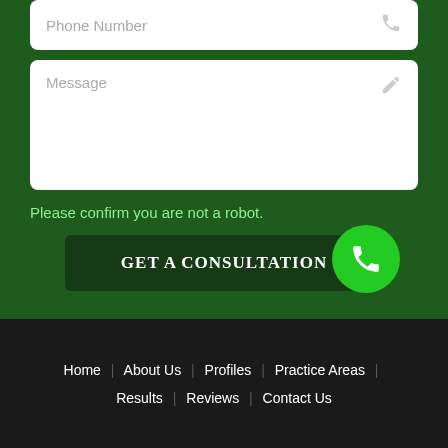Phone Number
Message
Please confirm you are not a robot.
GET A CONSULTATION
Home | About Us | Profiles | Practice Areas | Results | Reviews | Contact Us